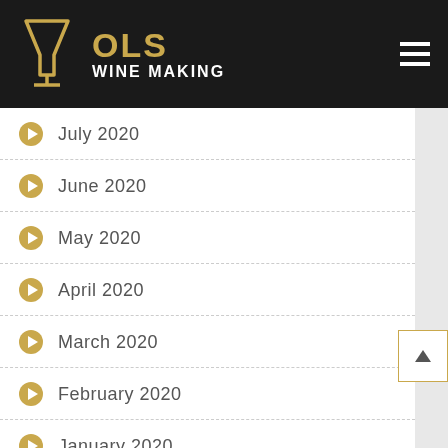OLS WINE MAKING
July 2020
June 2020
May 2020
April 2020
March 2020
February 2020
January 2020
December 2019